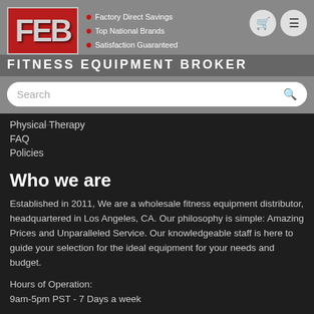[Figure (logo): FEB (Fitness Equipment Broker) logo — red background with stylized silver FEB letters, with taglines: Factory Direct Savings, Top National Brands, Satisfaction Guaranteed]
FITNESS EQUIPMENT BROKER
Physical Therapy
FAQ
Policies
Who we are
Established in 2011, We are a wholesale fitness equipment distributor, headquartered in Los Angeles, CA. Our philosophy is simple: Amazing Prices and Unparalleled Service. Our knowledgeable staff is here to guide your selection for the ideal equipment for your needs and budget.
Hours of Operation:
9am-5pm PST - 7 Days a week